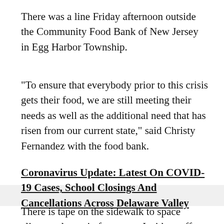There was a line Friday afternoon outside the Community Food Bank of New Jersey in Egg Harbor Township.
"To ensure that everybody prior to this crisis gets their food, we are still meeting their needs as well as the additional need that has risen from our current state," said Christy Fernandez with the food bank.
Coronavirus Update: Latest On COVID-19 Cases, School Closings And Cancellations Across Delaware Valley
There is tape on the sidewalk to space clients at least six feet apart. Inside, staff and volunteers were